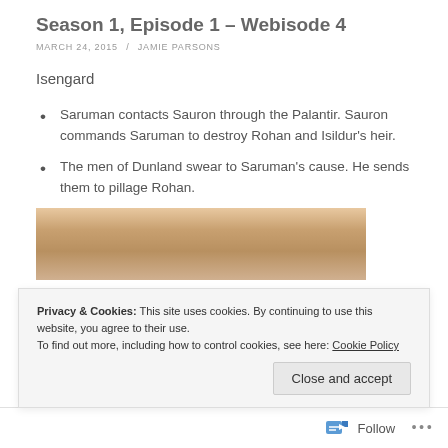Season 1, Episode 1 – Webisode 4
MARCH 24, 2015 / JAMIE PARSONS
Isengard
Saruman contacts Sauron through the Palantir. Sauron commands Saruman to destroy Rohan and Isildur's heir.
The men of Dunland swear to Saruman's cause. He sends them to pillage Rohan.
[Figure (photo): Partial photo showing a face/person, cropped at bottom of content area]
Privacy & Cookies: This site uses cookies. By continuing to use this website, you agree to their use.
To find out more, including how to control cookies, see here: Cookie Policy
Close and accept
Follow